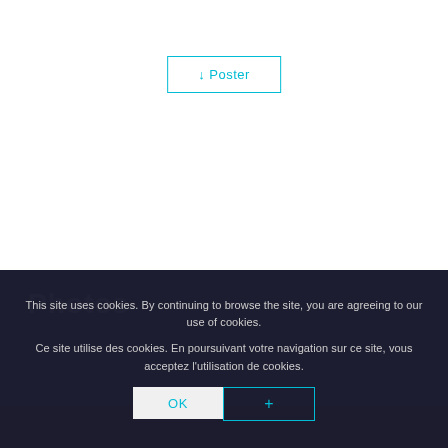[Figure (screenshot): A button with cyan border and text '↓ Poster' on white background, representing a UI element for posting or downloading]
Photos
This site uses cookies. By continuing to browse the site, you are agreeing to our use of cookies.
Ce site utilise des cookies. En poursuivant votre navigation sur ce site, vous acceptez l'utilisation de cookies.
[Figure (screenshot): Two buttons: 'OK' (light background, cyan text) and '+' (cyan border, cyan text), part of cookie consent UI]